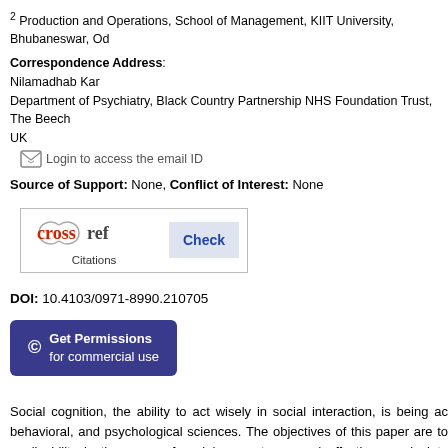2 Production and Operations, School of Management, KIIT University, Bhubaneswar, Od
Correspondence Address: Nilamadhab Kar Department of Psychiatry, Black Country Partnership NHS Foundation Trust, The Beech UK Login to access the email ID
Source of Support: None, Conflict of Interest: None
[Figure (other): Crossref logo with 'Check Citations' button]
DOI: 10.4103/0971-8990.210705
[Figure (other): Get Permissions for commercial use button with copyright symbol]
Social cognition, the ability to act wisely in social interaction, is being ac behavioral, and psychological sciences. The objectives of this paper are to applicability in the areas of social competence and effectiveness in inte understanding of social situations. The relationship between social cogni others has been explored. The paper discusses various processes that relevance in individual effectiveness. Concepts such as emotional intellige